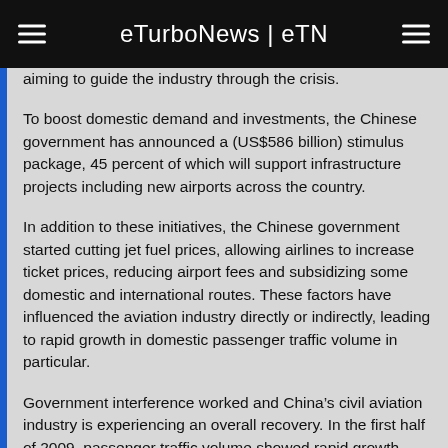eTurboNews | eTN
aiming to guide the industry through the crisis.
To boost domestic demand and investments, the Chinese government has announced a (US$586 billion) stimulus package, 45 percent of which will support infrastructure projects including new airports across the country.
In addition to these initiatives, the Chinese government started cutting jet fuel prices, allowing airlines to increase ticket prices, reducing airport fees and subsidizing some domestic and international routes. These factors have influenced the aviation industry directly or indirectly, leading to rapid growth in domestic passenger traffic volume in particular.
Government interference worked and China’s civil aviation industry is experiencing an overall recovery. In the first half of 2009, passenger traffic volume showed rapid growth,